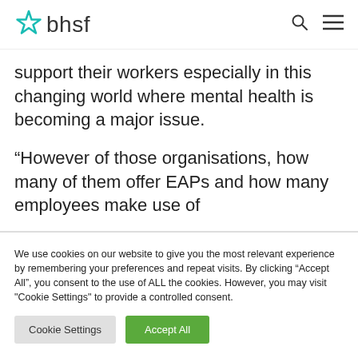bhsf
support their workers especially in this changing world where mental health is becoming a major issue.
â€œHowever of those organisations, how many of them offer EAPs and how many employees make use of
We use cookies on our website to give you the most relevant experience by remembering your preferences and repeat visits. By clicking “Accept All”, you consent to the use of ALL the cookies. However, you may visit "Cookie Settings" to provide a controlled consent.